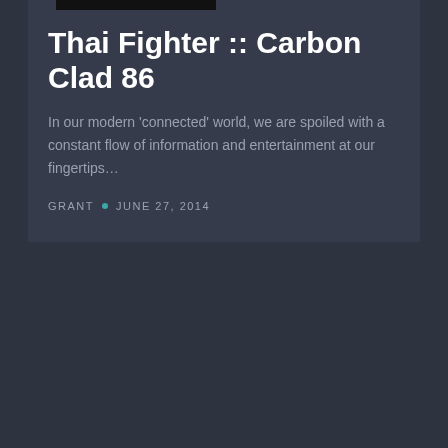Thai Fighter :: Carbon Clad 86
In our modern ‘connected’ world, we are spoiled with a constant flow of information and entertainment at our fingertips…
GRANT • JUNE 27, 2014
[Figure (other): Dark card area, lower portion of page, no visible content]